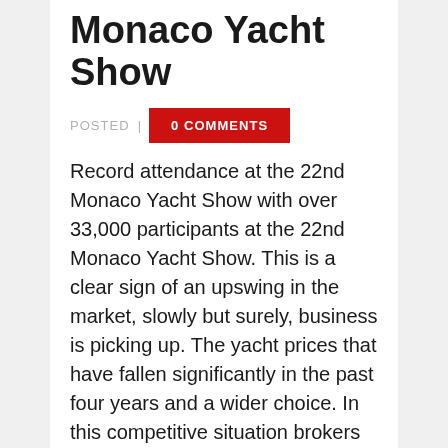Monaco Yacht Show
POSTED | 0 COMMENTS
Record attendance at the 22nd Monaco Yacht Show with over 33,000 participants at the 22nd Monaco Yacht Show. This is a clear sign of an upswing in the market, slowly but surely, business is picking up. The yacht prices that have fallen significantly in the past four years and a wider choice. In this competitive situation brokers and shipyards brought out their best selection of superyachts